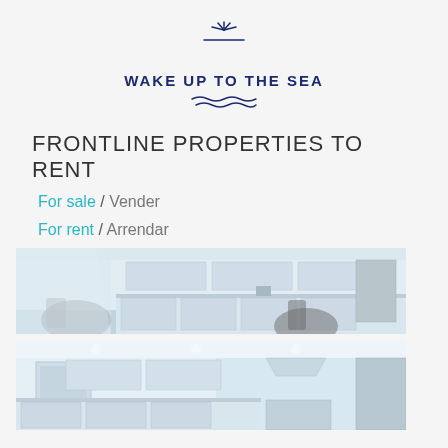[Figure (logo): Wake Up To The Sea logo with sun rays and wave decoration]
FRONTLINE PROPERTIES TO RENT
For sale / Vender
For rent / Arrendar
By date / Por Data
[Figure (photo): Interior kitchen/dining area photo with chairs and white cabinets]
[Figure (photo): Interior kitchen photo with white cabinets and stainless steel appliances]